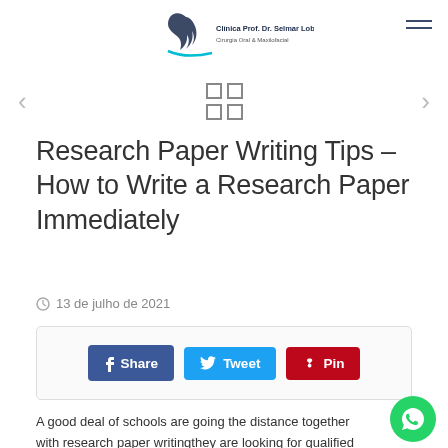[Figure (logo): Clinica Prof. Dr. Selmar Lobo Jr. logo with stylized face silhouette and teal curve, text reads Cirurgia Oral & Maxilofacial]
[Figure (infographic): Navigation row with left arrow, grid/gallery icon, and right arrow]
Research Paper Writing Tips – How to Write a Research Paper Immediately
13 de julho de 2021
[Figure (infographic): Social share bar with Facebook Share, Twitter Tweet, and Pinterest Pin buttons]
A good deal of schools are going the distance together with research paper writingthey are looking for qualified students to write research papers. They generally do not